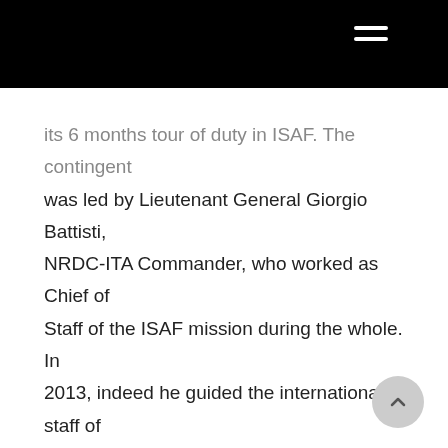[navigation bar with hamburger menu]
its 6 months tour of duty in ISAF. The contingent was led by Lieutenant General Giorgio Battisti, NRDC-ITA Commander, who worked as Chief of Staff of the ISAF mission during the whole. In 2013, indeed he guided the international staff of the mission, made up of personnel coming from 49 different nations, in the fundamental and delicate transition phase, managing the hand over of responsibility to the Afghan security forces and the beginning of the final phase of the mission, foreseen for December 2014.